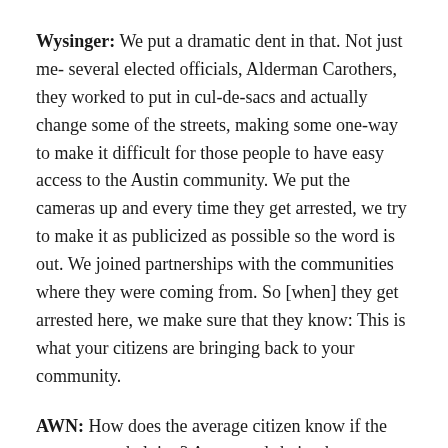Wysinger: We put a dramatic dent in that. Not just me- several elected officials, Alderman Carothers, they worked to put in cul-de-sacs and actually change some of the streets, making some one-way to make it difficult for those people to have easy access to the Austin community. We put the cameras up and every time they get arrested, we try to make it as publicized as possible so the word is out. We joined partnerships with the communities where they were coming from. So [when] they get arrested here, we make sure that they know: This is what your citizens are bringing back to your community.
AWN: How does the average citizen know if the cameras are helping? Are records being kept or are they